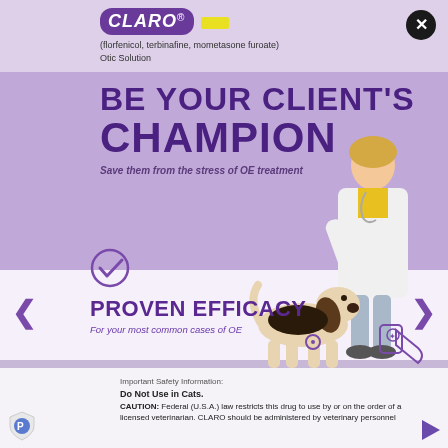CLARO® (florfenicol, terbinafine, mometasone furoate) Otic Solution
BE YOUR CLIENT'S CHAMPION
Save them from the stress of OE treatment
PROVEN EFFICACY
For your most common cases of OE
[Figure (illustration): Female veterinarian in white lab coat with stethoscope walking a basset hound dog, with illustrated medication container graphic nearby]
Important Safety Information:
Do Not Use in Cats.
CAUTION: Federal (U.S.A.) law restricts this drug to use by or on the order of a licensed veterinarian. CLARO should be administered by veterinary personnel